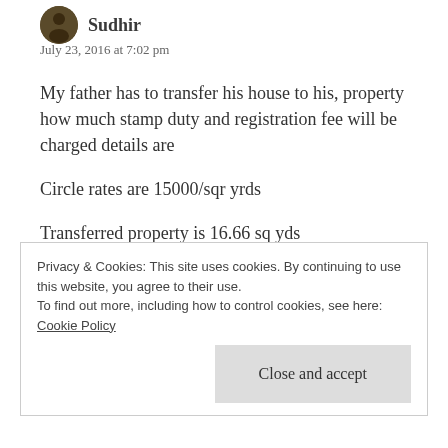Sudhir
July 23, 2016 at 7:02 pm
My father has to transfer his house to his, property how much stamp duty and registration fee will be charged details are
Circle rates are 15000/sqr yrds
Transferred property is 16.66 sq yds
Pls reply
Privacy & Cookies: This site uses cookies. By continuing to use this website, you agree to their use.
To find out more, including how to control cookies, see here: Cookie Policy